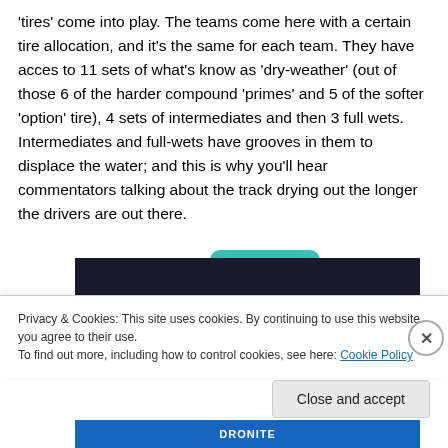'tires' come into play. The teams come here with a certain tire allocation, and it's the same for each team. They have acces to 11 sets of what's know as 'dry-weather' (out of those 6 of the harder compound 'primes' and 5 of the softer 'option' tire), 4 sets of intermediates and then 3 full wets. Intermediates and full-wets have grooves in them to displace the water; and this is why you'll hear commentators talking about the track drying out the longer the drivers are out there.
[Figure (screenshot): Dark banner image with teal bump at top, partially visible]
Privacy & Cookies: This site uses cookies. By continuing to use this website, you agree to their use.
To find out more, including how to control cookies, see here: Cookie Policy
Close and accept